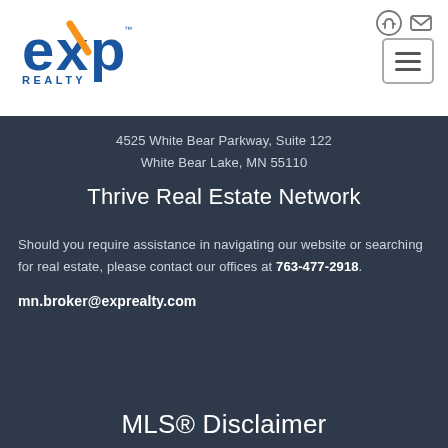[Figure (logo): eXp Realty logo with blue and orange styling]
4525 White Bear Parkway, Suite 122
White Bear Lake, MN 55110
Thrive Real Estate Network
Should you require assistance in navigating our website or searching for real estate, please contact our offices at 763-477-2918.
mn.broker@exprealty.com
MLS® Disclaimer